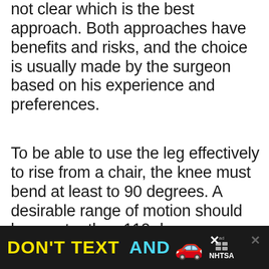not clear which is the best approach. Both approaches have benefits and risks, and the choice is usually made by the surgeon based on his experience and preferences.
To be able to use the leg effectively to rise from a chair, the knee must bend at least to 90 degrees. A desirable range of motion should be greater than 110 degrees. Balancing of the ligaments and soft tissues (during surgery) is the most important determining factor in regaining an adequate range of motion following knee replacement, but sometimes increasing scarring after surgery can lead to an increasingly stiff knee. If this occurs, your surgeon may
[Figure (other): Advertisement banner: 'DON'T TEXT AND' with car emoji, ad label, NHTSA logo, close button and cross icon. Bottom portion partially obscures the main text.]